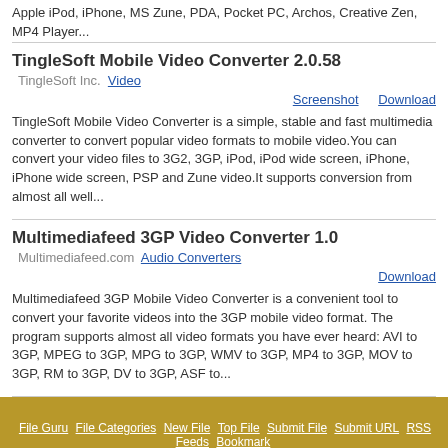Apple iPod, iPhone, MS Zune, PDA, Pocket PC, Archos, Creative Zen, MP4 Player...
TingleSoft Mobile Video Converter 2.0.58
TingleSoft Inc.  Video
Screenshot    Download
TingleSoft Mobile Video Converter is a simple, stable and fast multimedia converter to convert popular video formats to mobile video.You can convert your video files to 3G2, 3GP, iPod, iPod wide screen, iPhone, iPhone wide screen, PSP and Zune video.It supports conversion from almost all well...
Multimediafeed 3GP Video Converter 1.0
Multimediafeed.com  Audio Converters
Download
Multimediafeed 3GP Mobile Video Converter is a convenient tool to convert your favorite videos into the 3GP mobile video format. The program supports almost all video formats you have ever heard: AVI to 3GP, MPEG to 3GP, MPG to 3GP, WMV to 3GP, MP4 to 3GP, MOV to 3GP, RM to 3GP, DV to 3GP, ASF to...
File Guru  File Categories  New File  Top File  Submit File  Submit URL  RSS Feeds  Bookmark  Link to Us  Privacy Policy  Feedback/Contact  Web Directory  Copyright 2000-2020 © FileGuru.Com